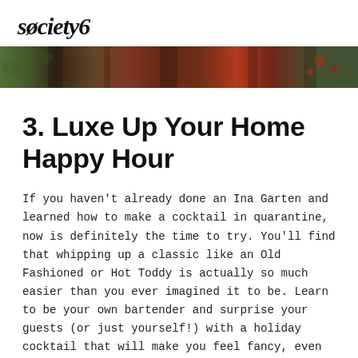society6
[Figure (photo): A decorative banner strip showing a close-up photographic collage with holiday/nature imagery — red berries, green leaves, dark wood tones, and reddish-brown colors.]
3. Luxe Up Your Home Happy Hour
If you haven't already done an Ina Garten and learned how to make a cocktail in quarantine, now is definitely the time to try. You'll find that whipping up a classic like an Old Fashioned or Hot Toddy is actually so much easier than you ever imagined it to be. Learn to be your own bartender and surprise your guests (or just yourself!) with a holiday cocktail that will make you feel fancy, even just for a night.